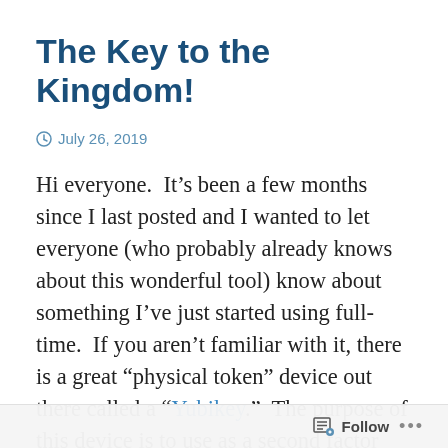The Key to the Kingdom!
July 26, 2019
Hi everyone.  It’s been a few months since I last posted and I wanted to let everyone (who probably already knows about this wonderful tool) know about something I’ve just started using full-time.  If you aren’t familiar with it, there is a great “physical token” device out there called a “Yubikey.”  The purpose of this device is to use as a second factor (among other purposes) so that even if a bad actor manages to get their hands on your userid and password,
Follow ...